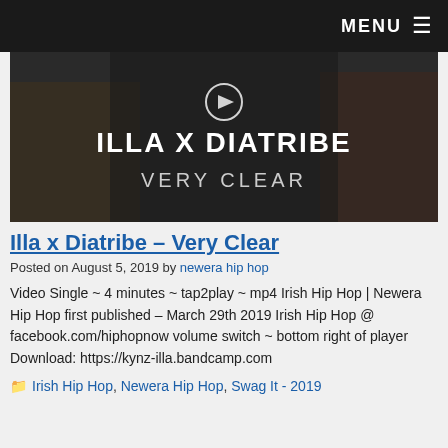MENU ≡
[Figure (photo): Music video thumbnail showing 'ILLA X DIATRIBE - VERY CLEAR' text overlay on dark background with people]
Illa x Diatribe – Very Clear
Posted on August 5, 2019 by newera hip hop
Video Single ~ 4 minutes ~ tap2play ~ mp4 Irish Hip Hop | Newera Hip Hop first published – March 29th 2019 Irish Hip Hop @ facebook.com/hiphopnow volume switch ~ bottom right of player Download: https://kynz-illa.bandcamp.com
Irish Hip Hop, Newera Hip Hop, Swag It - 2019